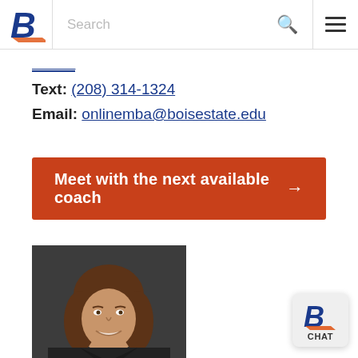[Figure (screenshot): Boise State University website navigation bar with BSU logo (italic B), Search text field, search icon, and hamburger menu icon]
Text: (208) 314-1324
Email: onlinemba@boisestate.edu
Meet with the next available coach →
[Figure (photo): Professional headshot of a woman with long brown hair, smiling, wearing a dark blazer, against a dark background]
[Figure (logo): Boise State University chat widget with BSU B logo and CHAT label]